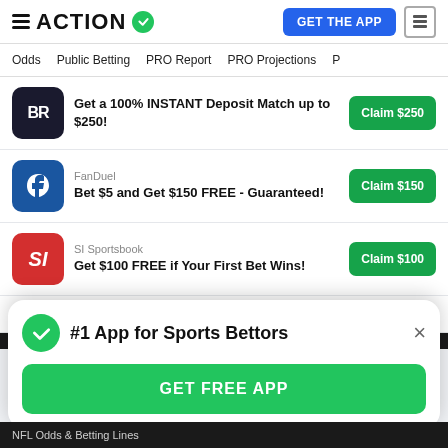ACTION
Odds | Public Betting | PRO Report | PRO Projections
Get a 100% INSTANT Deposit Match up to $250! Claim $250
FanDuel
Bet $5 and Get $150 FREE - Guaranteed! Claim $150
SI Sportsbook
Get $100 FREE if Your First Bet Wins! Claim $100
See All
#1 App for Sports Bettors
GET FREE APP
NFL Odds & Betting Lines